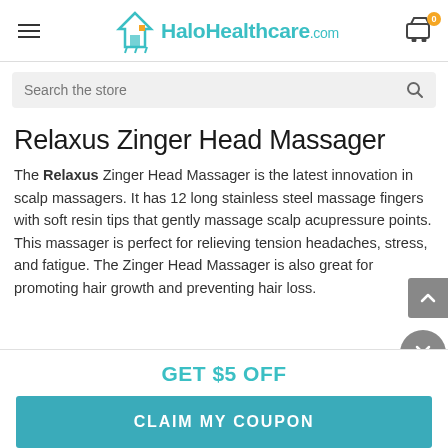HaloHealthcare.com
Search the store
Relaxus Zinger Head Massager
The Relaxus Zinger Head Massager is the latest innovation in scalp massagers. It has 12 long stainless steel massage fingers with soft resin tips that gently massage scalp acupressure points. This massager is perfect for relieving tension headaches, stress, and fatigue. The Zinger Head Massager is also great for promoting hair growth and preventing hair loss.
GET $5 OFF
CLAIM MY COUPON